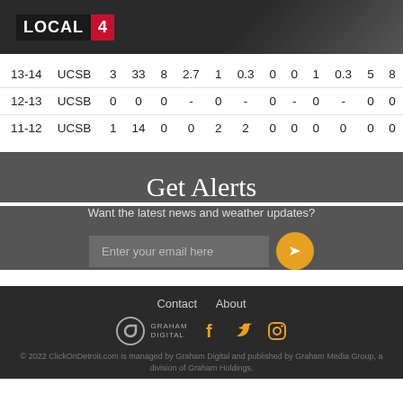[Figure (logo): LOCAL 4 logo — white text 'LOCAL' with red '4' square on dark background]
| 13-14 | UCSB | 3 | 33 | 8 | 2.7 | 1 | 0.3 | 0 | 0 | 1 | 0.3 | 5 | 8 |
| 12-13 | UCSB | 0 | 0 | 0 | - | 0 | - | 0 | - | 0 | - | 0 | 0 |
| 11-12 | UCSB | 1 | 14 | 0 | 0 | 2 | 2 | 0 | 0 | 0 | 0 | 0 | 0 |
Get Alerts
Want the latest news and weather updates?
Enter your email here
Contact   About
[Figure (logo): Graham Digital logo — circular G icon with GRAHAM DIGITAL text]
© 2022 ClickOnDetroit.com is managed by Graham Digital and published by Graham Media Group, a division of Graham Holdings.